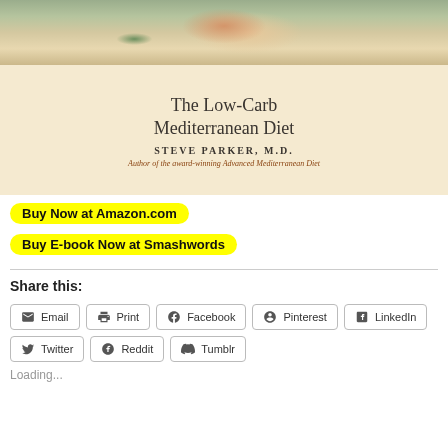[Figure (photo): Book cover for 'The Low-Carb Mediterranean Diet' by Steve Parker, M.D. Top portion shows a food photo with salmon/fish and green beans. Lower portion on cream background shows title, author name, and subtitle 'Author of the award-winning Advanced Mediterranean Diet'.]
Buy Now at Amazon.com
Buy E-book Now at Smashwords
Share this:
Email
Print
Facebook
Pinterest
LinkedIn
Twitter
Reddit
Tumblr
Loading...